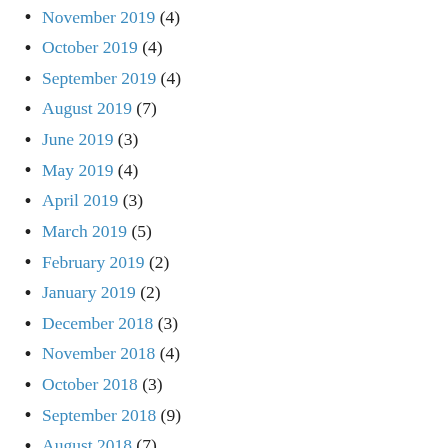November 2019 (4)
October 2019 (4)
September 2019 (4)
August 2019 (7)
June 2019 (3)
May 2019 (4)
April 2019 (3)
March 2019 (5)
February 2019 (2)
January 2019 (2)
December 2018 (3)
November 2018 (4)
October 2018 (3)
September 2018 (9)
August 2018 (7)
July 2018 (4)